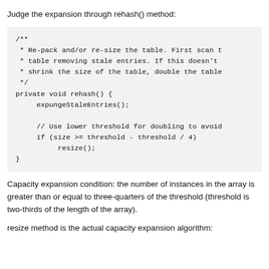Judge the expansion through rehash() method:
/**
 * Re-pack and/or re-size the table. First scan t
 * table removing stale entries. If this doesn't
 * shrink the size of the table, double the table
 */
private void rehash() {
    expungeStaleEntries();

    // Use lower threshold for doubling to avoid
    if (size >= threshold - threshold / 4)
        resize();
}
Capacity expansion condition: the number of instances in the array is greater than or equal to three-quarters of the threshold (threshold is two-thirds of the length of the array).
resize method is the actual capacity expansion algorithm: